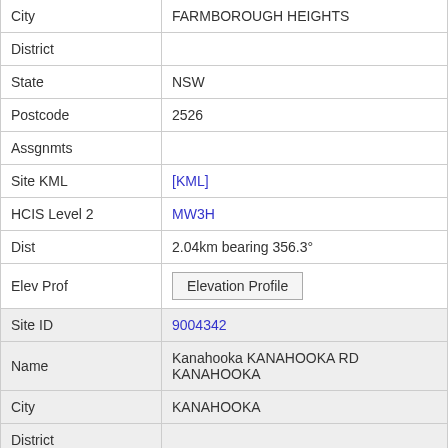| Field | Value |
| --- | --- |
| City | FARMBOROUGH HEIGHTS |
| District |  |
| State | NSW |
| Postcode | 2526 |
| Assgnmts |  |
| Site KML | [KML] |
| HCIS Level 2 | MW3H |
| Dist | 2.04km bearing 356.3° |
| Elev Prof | Elevation Profile |
| Site ID | 9004342 |
| Name | Kanahooka KANAHOOKA RD KANAHOOKA |
| City | KANAHOOKA |
| District |  |
| State | NSW |
| Postcode | 2530 |
| Assgnmts | 90 |
| Site KML | [KML] |